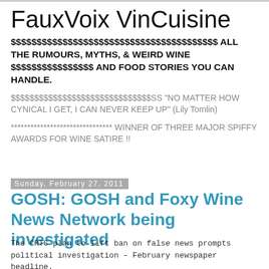FauxVoix VinCuisine
$$$$$$$$$$$$$$$$$$$$$$$$$$$$$$$$$$$$$$$$ ALL THE RUMOURS, MYTHS, & WEIRD WINE $$$$$$$$$$$$$$$$ AND FOOD STORIES YOU CAN HANDLE.
$$$$$$$$$$$$$$$$$$$$$$$$$$$$$$SS "NO MATTER HOW CYNICAL I GET, I CAN NEVER KEEP UP" (Lily Tomlin)
******************************* WINNER OF THREE MAJOR SPIFFY AWARDS FOR WINE SATIRE !!
Sunday, February 27, 2011
GOSH: GOSH and Foxy Wine News Network being investigated
The CRTC plan to lift ban on false news prompts political investigation – February newspaper headline.